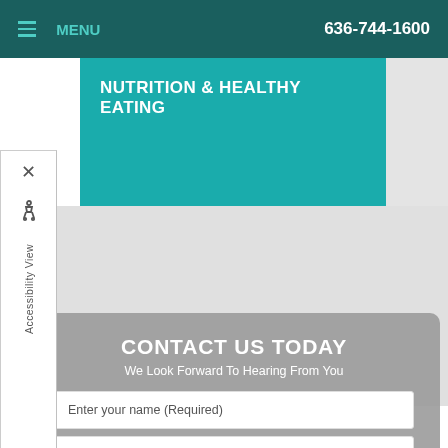MENU   636-744-1600
NUTRITION & HEALTHY EATING
[Figure (screenshot): Accessibility View sidebar with close button and wheelchair icon]
CONTACT US TODAY
We Look Forward To Hearing From You
Enter your name (Required)
Enter email (Required)
(XXX)XXX-XXXX (Required)